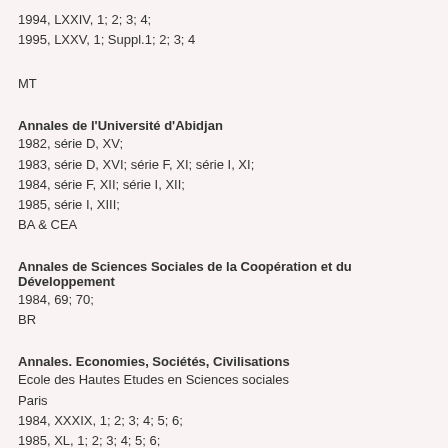1994, LXXIV, 1; 2; 3; 4;
1995, LXXV, 1; Suppl.1; 2; 3; 4
MT
Annales de l'Université d'Abidjan
1982, série D, XV;
1983, série D, XVI; série F, XI; série I, XI;
1984, série F, XII; série I, XII;
1985, série I, XIII;
BA & CEA
Annales de Sciences Sociales de la Coopération et du Développement
1984, 69; 70;
BR
Annales. Economies, Sociétés, Civilisations
Ecole des Hautes Etudes en Sciences sociales
Paris
1984, XXXIX, 1; 2; 3; 4; 5; 6;
1985, XL, 1; 2; 3; 4; 5; 6;
1986, XLI, 1; 2; 3; 4; 5; 6:
1987, XLII, 1; 2; 3; 4; 5; 6;
1988, XLIII, 1; 2; 3; 4; 5; 6;
1989, XLIV, 1; 2; 3; 4; 5; 6;
1990, XLV, 1; 2; 3; 4; 5; 6 ;